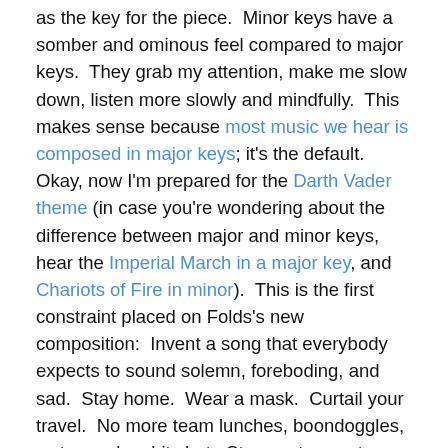as the key for the piece. Minor keys have a somber and ominous feel compared to major keys. They grab my attention, make me slow down, listen more slowly and mindfully. This makes sense because most music we hear is composed in major keys; it's the default. Okay, now I'm prepared for the Darth Vader theme (in case you're wondering about the difference between major and minor keys, hear the Imperial March in a major key, and Chariots of Fire in minor). This is the first constraint placed on Folds's new composition: Invent a song that everybody expects to sound solemn, foreboding, and sad. Stay home. Wear a mask. Curtail your travel. No more team lunches, boondoggles, water cooler chit chat. Stress, stress, stress. A minor sounds like the right key for inventing a song in the Age of COVID.
Upbeat!